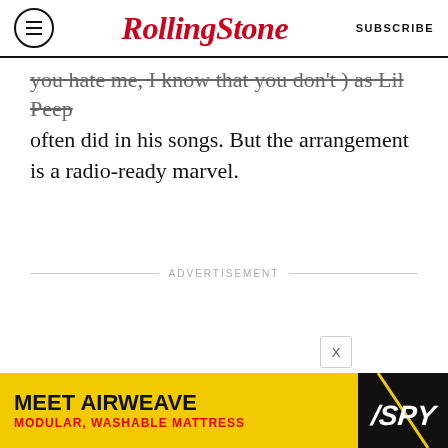RollingStone — SUBSCRIBE
you hate me, I know that you don't ) as Lil Peep often did in his songs. But the arrangement is a radio-ready marvel.
ADVERTISEMENT
[Figure (screenshot): Advertisement banner for Airweave: MEET AIRWEAVE — MODULAR, WASHABLE MATTRESS with SPY logo]